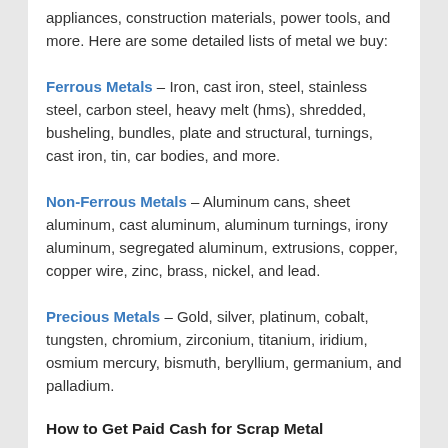appliances, construction materials, power tools, and more. Here are some detailed lists of metal we buy:
Ferrous Metals – Iron, cast iron, steel, stainless steel, carbon steel, heavy melt (hms), shredded, busheling, bundles, plate and structural, turnings, cast iron, tin, car bodies, and more.
Non-Ferrous Metals – Aluminum cans, sheet aluminum, cast aluminum, aluminum turnings, irony aluminum, segregated aluminum, extrusions, copper, copper wire, zinc, brass, nickel, and lead.
Precious Metals – Gold, silver, platinum, cobalt, tungsten, chromium, zirconium, titanium, iridium, osmium mercury, bismuth, beryllium, germanium, and palladium.
How to Get Paid Cash for Scrap Metal
The scrap metal recycling process is easy with Garden City Iron & Metal. Simply give us a call at 1-888-586-5322 and give us some information about your freight. Then we